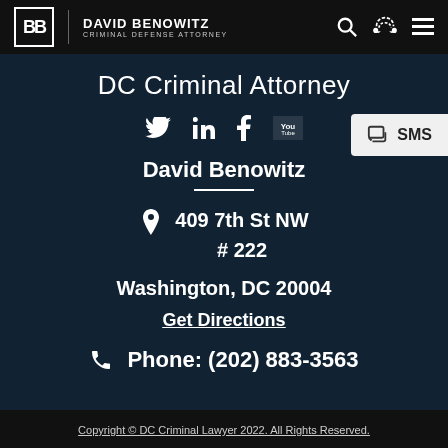David Benowitz Criminal Defense Attorney
DC Criminal Attorney
[Figure (infographic): Social media icons: Twitter, LinkedIn, Facebook, YouTube]
[Figure (infographic): SMS button with chat icon]
David Benowitz
409 7th St NW
# 222
Washington, DC 20004
Get Directions
Phone: (202) 883-3563
Copyright © DC Criminal Lawyer 2022. All Rights Reserved.